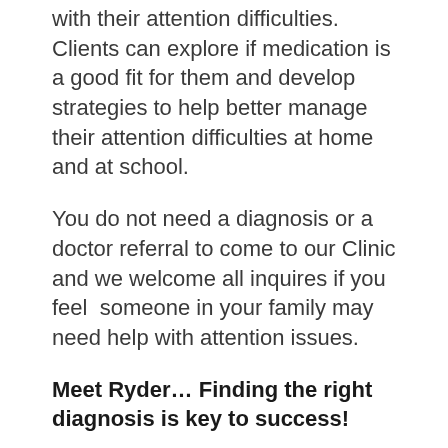with their attention difficulties. Clients can explore if medication is a good fit for them and develop strategies to help better manage their attention difficulties at home and at school.
You do not need a diagnosis or a doctor referral to come to our Clinic and we welcome all inquires if you feel someone in your family may need help with attention issues.
Meet Ryder… Finding the right diagnosis is key to success!
By Christmas of his grade 3 year, Ryder's parents and teachers were very concerned about his lack of progress in school. He had received speech, language and literacy help but continued to